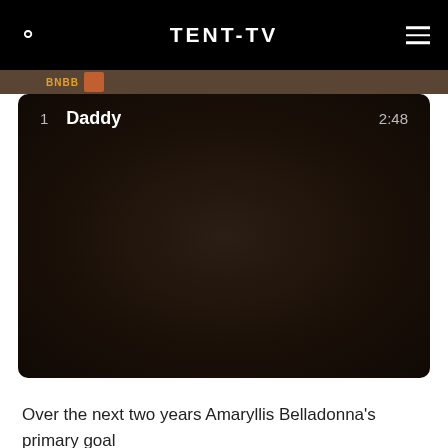TENT-TV
[Figure (screenshot): Dark video/playlist panel showing track 1 'Daddy' with duration 2:48, with a thumbnail strip at top showing 'BNBB' label in orange]
Over the next two years Amaryllis Belladonna's primary goal